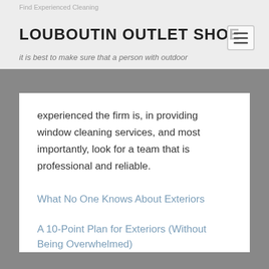Find Experienced Cleaning
LOUBOUTIN OUTLET SHOE
it is best to make sure that a person with outdoor
experienced the firm is, in providing window cleaning services, and most importantly, look for a team that is professional and reliable.
What No One Knows About Exteriors
A 10-Point Plan for Exteriors (Without Being Overwhelmed)
Sports & Athletics